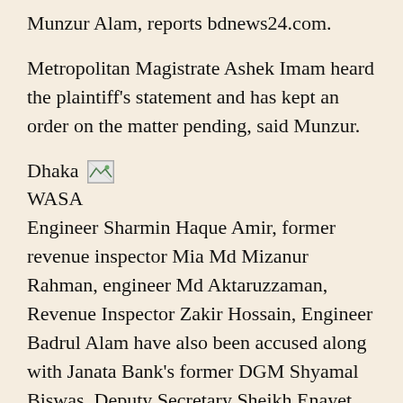Munzur Alam, reports bdnews24.com.
Metropolitan Magistrate Ashek Imam heard the plaintiff's statement and has kept an order on the matter pending, said Munzur.
Dhaka WASA Engineer Sharmin Haque Amir, former revenue inspector Mia Md Mizanur Rahman, engineer Md Aktaruzzaman, Revenue Inspector Zakir Hossain, Engineer Badrul Alam have also been accused along with Janata Bank's former DGM Shyamal Biswas, Deputy Secretary Sheikh Enayet Ullah and Deputy Chief Accounting Officer Salekur Rahman.
According to the plaintiff, the Dhaka WASA Employees Multipurpose Cooperative Society received Tk 996.5 million between Jul 16, 2017